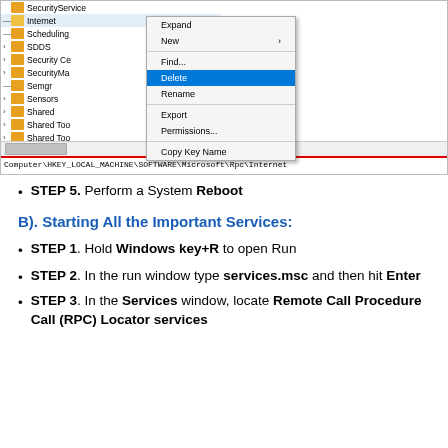[Figure (screenshot): Windows Registry Editor showing context menu with Delete option highlighted, and path Computer\HKEY_LOCAL_MACHINE\SOFTWARE\Microsoft\Rpc\Internet at the bottom]
STEP 5. Perform a System Reboot
B). Starting All the Important Services:
STEP 1. Hold Windows key+R to open Run
STEP 2. In the run window type services.msc and then hit Enter
STEP 3. In the Services window, locate Remote Call Procedure Call (RPC) Locator services